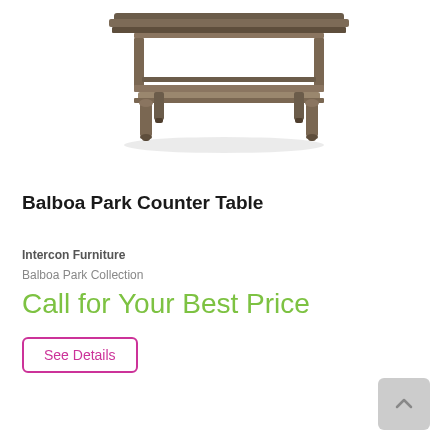[Figure (photo): Product photo of the Balboa Park Counter Table — a dark brown/grey wood rectangular counter-height dining table with a lower shelf, turned legs, and a distressed finish.]
Balboa Park Counter Table
Intercon Furniture
Balboa Park Collection
Call for Your Best Price
See Details